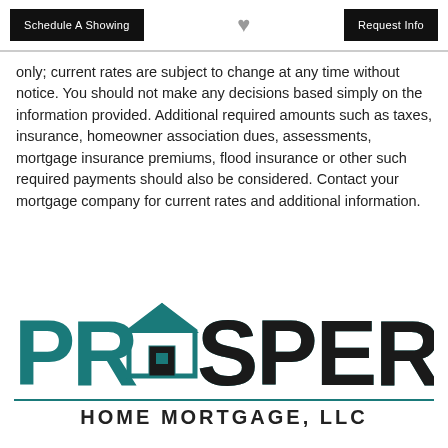Schedule A Showing | [heart] | Request Info
only; current rates are subject to change at any time without notice. You should not make any decisions based simply on the information provided. Additional required amounts such as taxes, insurance, homeowner association dues, assessments, mortgage insurance premiums, flood insurance or other such required payments should also be considered. Contact your mortgage company for current rates and additional information.
[Figure (logo): Prosperity Home Mortgage, LLC logo with teal and dark text spelling PROSPERITY with a house icon, and subtitle HOME MORTGAGE, LLC]